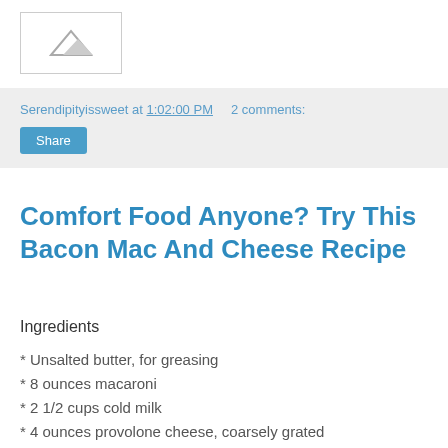[Figure (logo): Small mountain/landscape logo icon inside a white bordered box]
Serendipityissweet at 1:02:00 PM   2 comments:
Share
Comfort Food Anyone? Try This Bacon Mac And Cheese Recipe
Ingredients
* Unsalted butter, for greasing
* 8 ounces macaroni
* 2 1/2 cups cold milk
* 4 ounces provolone cheese, coarsely grated
* 4 ounces aged Asiago cheese, coarsely grated
* 2 large eggs
* 2 scallions, white and green parts, chopped